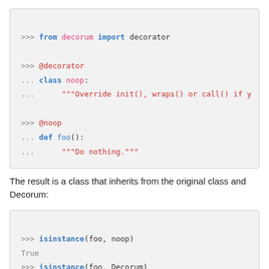[Figure (screenshot): Python interactive shell code block showing: >>> from decorum import decorator, >>> @decorator, ... class noop:, ...     """Override init(), wraps() or call() if y, >>> @noop, ... def foo():, ...     """Do nothing."""]
The result is a class that inherits from the original class and Decorum:
[Figure (screenshot): Python interactive shell code block showing: >>> isinstance(foo, noop), True, >>> isinstance(foo, Decorum), True]